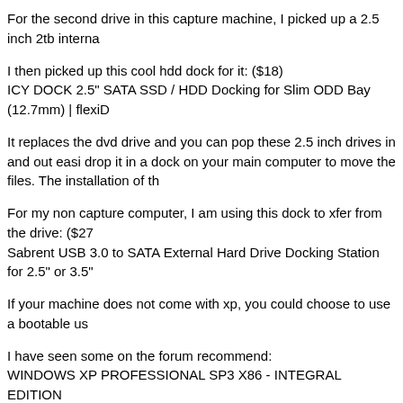For the second drive in this capture machine, I picked up a 2.5 inch 2tb interna
I then picked up this cool hdd dock for it: ($18)
ICY DOCK 2.5" SATA SSD / HDD Docking for Slim ODD Bay (12.7mm) | flexiD
It replaces the dvd drive and you can pop these 2.5 inch drives in and out easi drop it in a dock on your main computer to move the files. The installation of th
For my non capture computer, I am using this dock to xfer from the drive: ($27 Sabrent USB 3.0 to SATA External Hard Drive Docking Station for 2.5" or 3.5"
If your machine does not come with xp, you could choose to use a bootable us
I have seen some on the forum recommend:
WINDOWS XP PROFESSIONAL SP3 X86 - INTEGRAL EDITION
After install, you can use snappy driver installer to install your drivers. If you wa that snappy driver installer was not installing automatically, it was reported as a hosts xp drivers for this machine, but they seem to be corrupted. I was getting
Anyway, it was a mostly painless process compared to some other alternatives dropped / inserted frames or any weirdness in virtualdub. However your milage